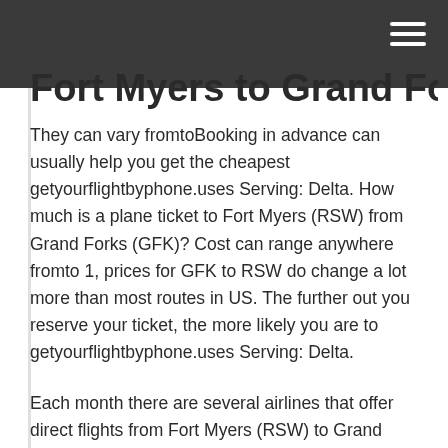Fort Myers to Grand Forks
Fort Myers to Grand Forks
They can vary fromtoBooking in advance can usually help you get the cheapest getyourflightbyphone.uses Serving: Delta. How much is a plane ticket to Fort Myers (RSW) from Grand Forks (GFK)? Cost can range anywhere fromto 1, prices for GFK to RSW do change a lot more than most routes in US. The further out you reserve your ticket, the more likely you are to getyourflightbyphone.uses Serving: Delta.
Each month there are several airlines that offer direct flights from Fort Myers (RSW) to Grand Forks (GFK). Among the top airlines that consistently provide RSW to GFK flights include: Delta Air Lines - (DL) with 90 direct flights between Fort Myers and Grand Forks monthly.